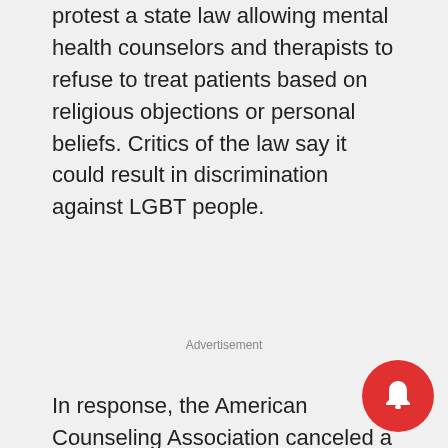protest a state law allowing mental health counselors and therapists to refuse to treat patients based on religious objections or personal beliefs. Critics of the law say it could result in discrimination against LGBT people.
Advertisement
In response, the American Counseling Association canceled a meeting in Nashville it estimated would bring in more than 3,000 visitors and more than $4 million in tax revenue.
“If I say, ‘We’re a blue city in a red state that’s getting punished,’ that doesn’t help,” said Butch